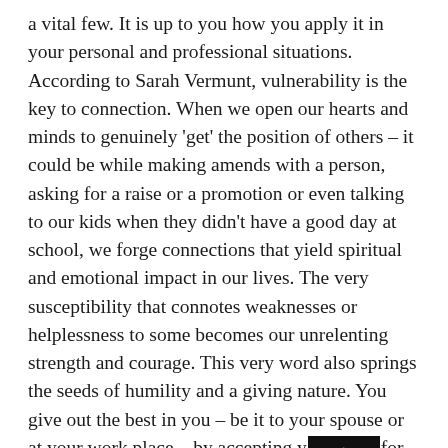a vital few. It is up to you how you apply it in your personal and professional situations. According to Sarah Vermunt, vulnerability is the key to connection. When we open our hearts and minds to genuinely 'get' the position of others – it could be while making amends with a person, asking for a raise or a promotion or even talking to our kids when they didn't have a good day at school, we forge connections that yield spiritual and emotional impact in our lives. The very susceptibility that connotes weaknesses or helplessness to some becomes our unrelenting strength and courage. This very word also springs the seeds of humility and a giving nature. You give out the best in you – be it to your spouse or at your work place – by accepting y[redacted]for the person you are. Sometimes, when we see [redacted]one cry while giving a speech or a keynote presentation, we instantly connect (and sometimes land up crying as well):